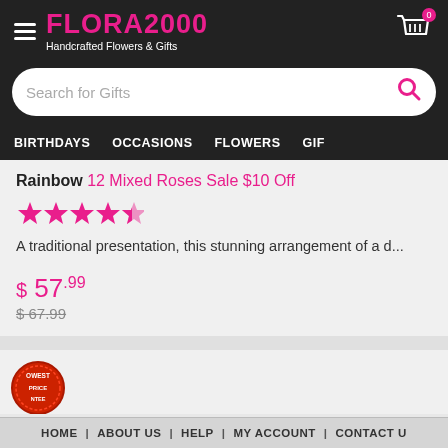FLORA2000 Handcrafted Flowers & Gifts
Search for Gifts
BIRTHDAYS  OCCASIONS  FLOWERS  GIF
Rainbow 12 Mixed Roses Sale $10 Off
★★★★★
A traditional presentation, this stunning arrangement of a d...
$ 57.99
$ 67.99
[Figure (logo): Lowest price guarantee badge circular seal]
HOME | ABOUT US | HELP | MY ACCOUNT | CONTACT U